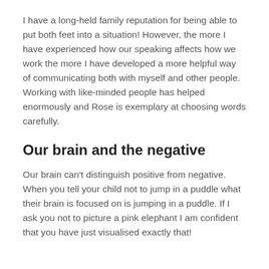I have a long-held family reputation for being able to put both feet into a situation! However, the more I have experienced how our speaking affects how we work the more I have developed a more helpful way of communicating both with myself and other people. Working with like-minded people has helped enormously and Rose is exemplary at choosing words carefully.
Our brain and the negative
Our brain can't distinguish positive from negative. When you tell your child not to jump in a puddle what their brain is focused on is jumping in a puddle. If I ask you not to picture a pink elephant I am confident that you have just visualised exactly that!